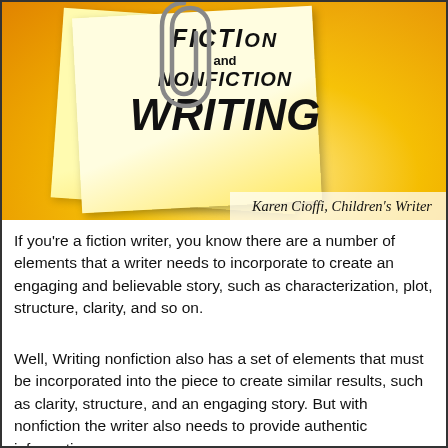[Figure (illustration): Book cover image showing sticky notes with text 'FICTION and NONFICTION WRITING' in bold lettering on a yellow background with a paperclip, and text 'Karen Cioffi, Children's Writer' at the bottom right.]
If you're a fiction writer, you know there are a number of elements that a writer needs to incorporate to create an engaging and believable story, such as characterization, plot, structure, clarity, and so on.
Well, Writing nonfiction also has a set of elements that must be incorporated into the piece to create similar results, such as clarity, structure, and an engaging story. But with nonfiction the writer also needs to provide authentic information.